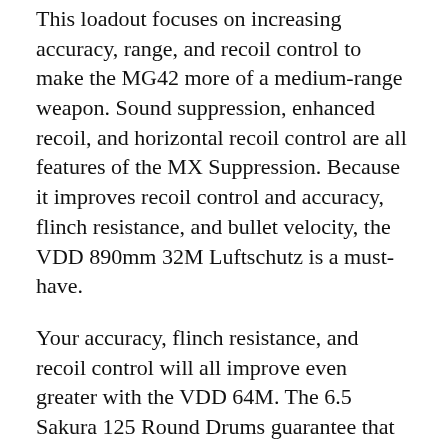This loadout focuses on increasing accuracy, range, and recoil control to make the MG42 more of a medium-range weapon. Sound suppression, enhanced recoil, and horizontal recoil control are all features of the MX Suppression. Because it improves recoil control and accuracy, flinch resistance, and bullet velocity, the VDD 890mm 32M Luftschutz is a must-have.
Your accuracy, flinch resistance, and recoil control will all improve even greater with the VDD 64M. The 6.5 Sakura 125 Round Drums guarantee that you have enough ammunition to keep the competitors at bay and melt them. They also improve recoil control and accuracy, as well as movement speed, ADS speed, and firing rate.
What's the best way to obtain it?